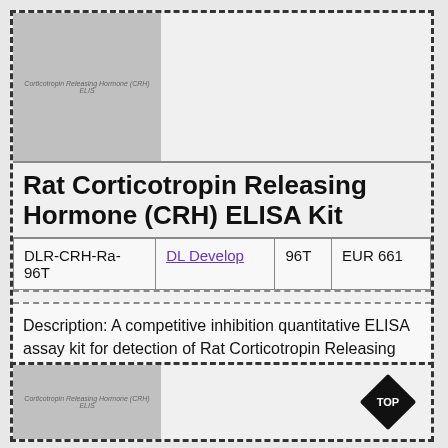[Figure (photo): Product image placeholder for Rat Corticotropin Releasing Hormone (CRH) ELISA kit with text label]
Rat Corticotropin Releasing Hormone (CRH) ELISA Kit
|  |  |  |  |
| --- | --- | --- | --- |
| DLR-CRH-Ra-96T | DL Develop | 96T | EUR 661 |
Description: A competitive inhibition quantitative ELISA assay kit for detection of Rat Corticotropin Releasing Hormone (CRH) in samples from serum, plasma or other biological fluids.
[Figure (photo): Second product image placeholder for Rat Corticotropin Releasing Hormone (CRH) ELISA kit]